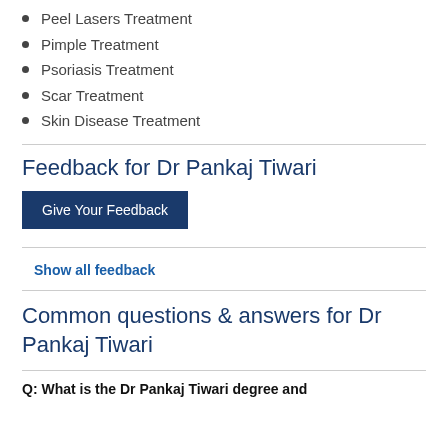Peel Lasers Treatment
Pimple Treatment
Psoriasis Treatment
Scar Treatment
Skin Disease Treatment
Feedback for Dr Pankaj Tiwari
Give Your Feedback
Show all feedback
Common questions & answers for Dr Pankaj Tiwari
Q: What is the Dr Pankaj Tiwari degree and